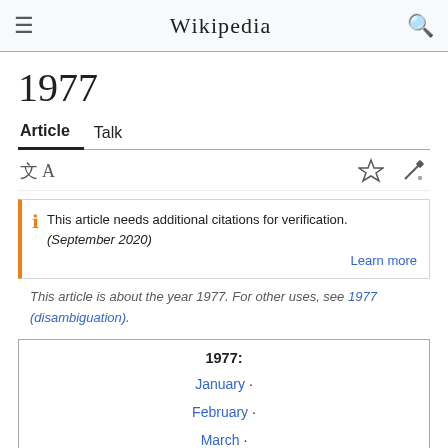Wikipedia
1977
Article   Talk
This article needs additional citations for verification. (September 2020) Learn more
This article is about the year 1977. For other uses, see 1977 (disambiguation).
| 1977: |
| --- |
| January · |
| February · |
| March · |
| April · |
| May · |